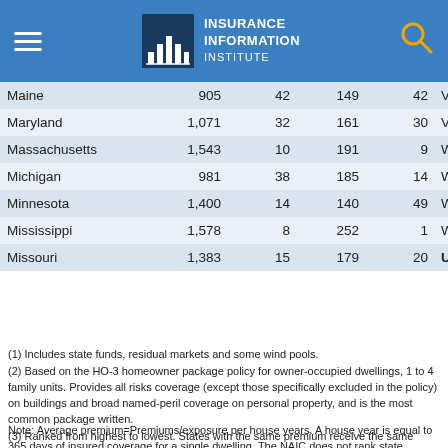Insurance Information Institute
| State | Value1 | Rank1 | Value2 | Rank2 | State (cont.) |
| --- | --- | --- | --- | --- | --- |
| Maine | 905 | 42 | 149 | 42 | Verm... |
| Maryland | 1,071 | 32 | 161 | 30 | Virg... |
| Massachusetts | 1,543 | 10 | 191 | 9 | Was... |
| Michigan | 981 | 38 | 185 | 14 | Wes... |
| Minnesota | 1,400 | 14 | 140 | 49 | Wisc... |
| Mississippi | 1,578 | 8 | 252 | 1 | Wyo... |
| Missouri | 1,383 | 15 | 179 | 20 | Unit... |
(1) Includes state funds, residual markets and some wind pools.
(2) Based on the HO-3 homeowner package policy for owner-occupied dwellings, 1 to 4 family units. Provides all risks coverage (except those specifically excluded in the policy) on buildings and broad named-peril coverage on personal property, and is the most common package written.
(3) Ranked from highest to lowest. States with the same premium receive the same rank.
(4) Based on the HO-4 renters insurance policy for tenants. Includes broad named-peril coverage for the personal property of tenants.
(5) Data provided by the California Department of Insurance.
(6) Texas data were obtained from the Texas Department of Insurance.
Note: Average premium=Premiums/exposure per house years. A house year is equal to 365 days of insured coverage for a single dwelling. The NAIC does not rank state average